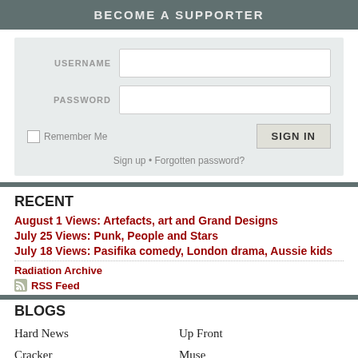BECOME A SUPPORTER
USERNAME [input field]
PASSWORD [input field]
Remember Me   SIGN IN
Sign up • Forgotten password?
RECENT
August 1 Views: Artefacts, art and Grand Designs
July 25 Views: Punk, People and Stars
July 18 Views: Pasifika comedy, London drama, Aussie kids
Radiation Archive
RSS Feed
BLOGS
Hard News
Up Front
Cracker
Muse
Busytown
Radiation